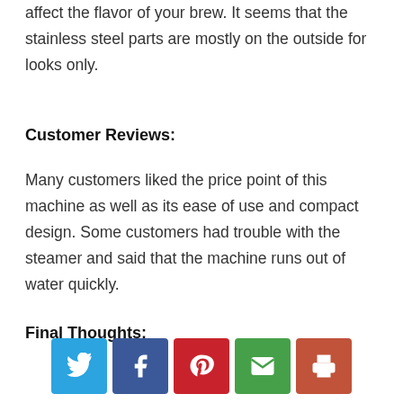affect the flavor of your brew. It seems that the stainless steel parts are mostly on the outside for looks only.
Customer Reviews:
Many customers liked the price point of this machine as well as its ease of use and compact design. Some customers had trouble with the steamer and said that the machine runs out of water quickly.
Final Thoughts:
[Figure (infographic): Social sharing buttons: Twitter (blue), Facebook (dark blue), Pinterest (red), Email (green), Print (orange-red)]